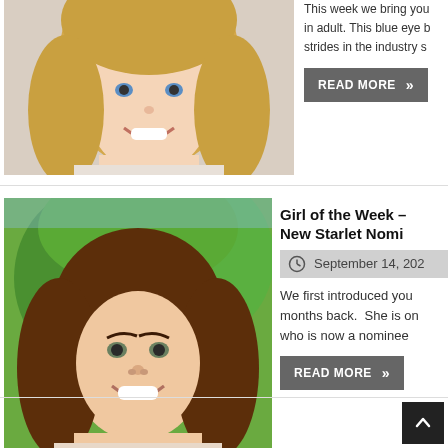[Figure (photo): Close-up photo of a smiling blonde woman]
This week we bring you in adult. This blue eye b strides in the industry s
READ MORE »
[Figure (photo): Close-up photo of a smiling brunette woman outdoors]
Girl of the Week – New Starlet Nomi
September 14, 202
We first introduced you months back.  She is on who is now a nominee
READ MORE »